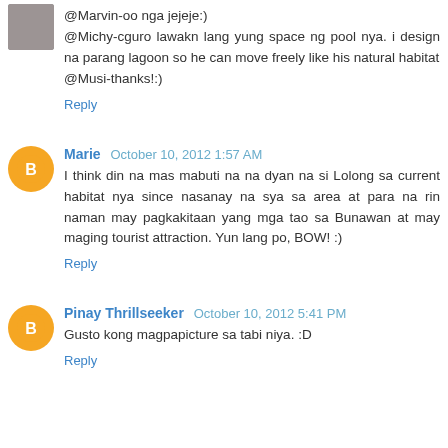@Marvin-oo nga jejeje:)
@Michy-cguro lawakn lang yung space ng pool nya. i design na parang lagoon so he can move freely like his natural habitat
@Musi-thanks!:)
Reply
Marie  October 10, 2012 1:57 AM
I think din na mas mabuti na na dyan na si Lolong sa current habitat nya since nasanay na sya sa area at para na rin naman may pagkakitaan yang mga tao sa Bunawan at may maging tourist attraction. Yun lang po, BOW! :)
Reply
Pinay Thrillseeker  October 10, 2012 5:41 PM
Gusto kong magpapicture sa tabi niya. :D
Reply